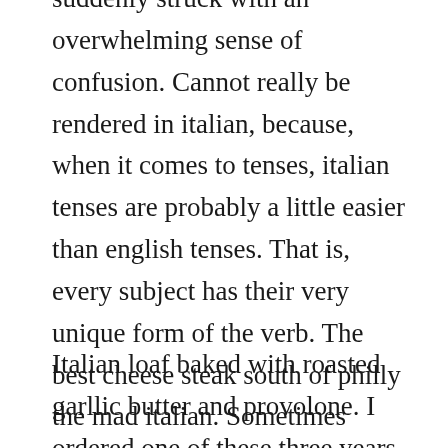suddenly struck with an overwhelming sense of confusion. Cannot really be rendered in italian, because, when it comes to tenses, italian tenses are probably a little easier than english tenses. That is, every subject has their very unique form of the verb. The best cheese steak south of philly the mad italian. Sometimes english translations will be included, but they can be vague.
Italian loaf baked with roasted garllic butter and provolone. I ordered one of these three years ago and i have used it a lot since. Our